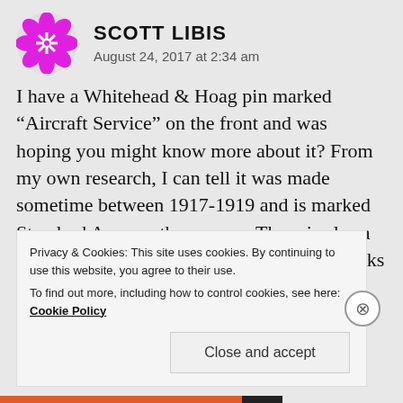[Figure (illustration): Pink/magenta ornate flower-like avatar icon for user Scott Libis]
SCOTT LIBIS
August 24, 2017 at 2:34 am
I have a Whitehead & Hoag pin marked “Aircraft Service” on the front and was hoping you might know more about it? From my own research, I can tell it was made sometime between 1917-1919 and is marked Standard Aero on the reverse. There is also a four digit number stamped into it, which looks like a serial number. The words “Not Transferable” are also marked on the back.
My theory is that these pins were issued by Standard
Privacy & Cookies: This site uses cookies. By continuing to use this website, you agree to their use.
To find out more, including how to control cookies, see here: Cookie Policy
Close and accept